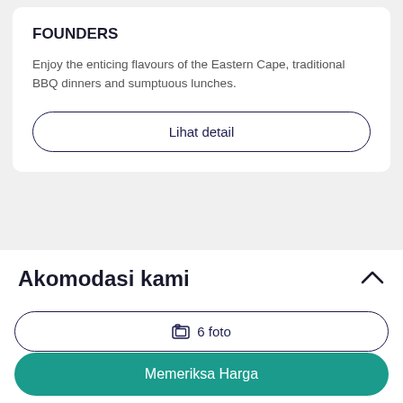FOUNDERS
Enjoy the enticing flavours of the Eastern Cape, traditional BBQ dinners and sumptuous lunches.
Lihat detail
Akomodasi kami
6 foto
Memeriksa Harga